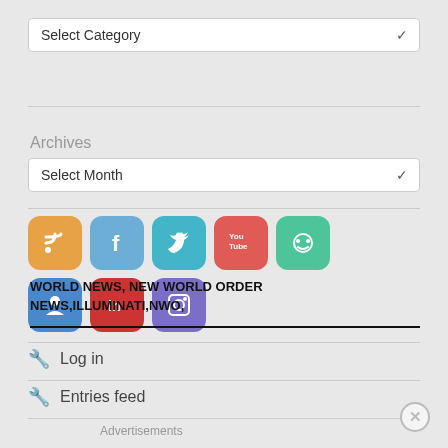[Figure (screenshot): Dropdown select box labeled 'Select Category' with a chevron arrow on the right]
Archives
[Figure (screenshot): Dropdown select box labeled 'Select Month' with a chevron arrow on the right]
[Figure (infographic): Row of social media icons: RSS (orange), Facebook (blue), Twitter (teal), YouTube (red), Frog/other (green), and a second row with red, blue, purple icons overlapping bold text]
WORLD NEWS, NEW WORLD ORDER NEWS,ILLUMINATI,NWO,
Log in
Entries feed
Advertisements